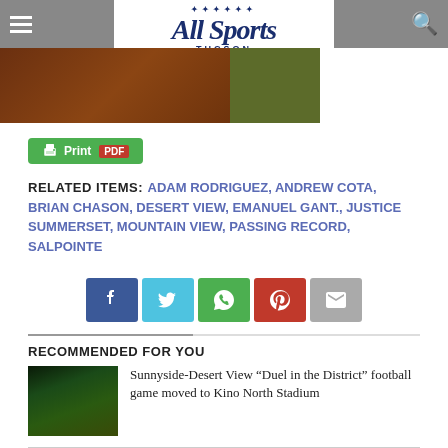All Sports Tucson
[Figure (photo): Partial photo showing wooden furniture/paneling and green plant on right side]
Print PDF
RELATED ITEMS: ADAM RODRIGUEZ, ANDREW COTA, BRIAN CHASON, DESERT VIEW, EMANUEL GANT., JUSTICE SUMMERSET, MOUNTAIN VIEW, PASSING RECORD, SALPOINTE
[Figure (infographic): Social share buttons: Facebook, Twitter, WhatsApp, Pinterest, Email]
RECOMMENDED FOR YOU
[Figure (photo): Football game photo thumbnail showing players on field at night]
Sunnyside-Desert View “Duel in the District” football game moved to Kino North Stadium